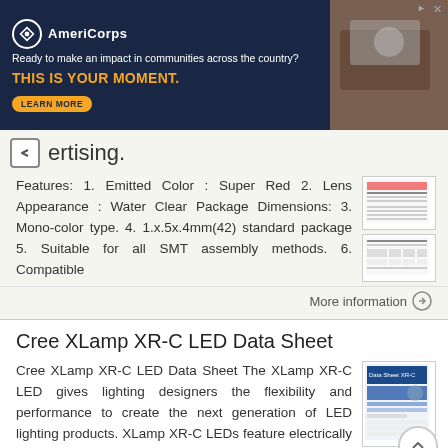[Figure (other): AmeriCorps advertisement banner with dark blue background, logo, tagline 'Ready to make an impact in communities across the country?', headline 'THIS IS YOUR MOMENT.' in orange, LEARN MORE button, and photo of students at computers]
ertising.
Features: 1. Emitted Color : Super Red 2. Lens Appearance : Water Clear Package Dimensions: 3. Mono-color type. 4. 1.x.5x.4mm(42) standard package 5. Suitable for all SMT assembly methods. 6. Compatible
More information →
Cree XLamp XR-C LED Data Sheet
Cree XLamp XR-C LED Data Sheet The XLamp XR-C LED gives lighting designers the flexibility and performance to create the next generation of LED lighting products. XLamp XR-C LEDs feature electrically neutral
More information →